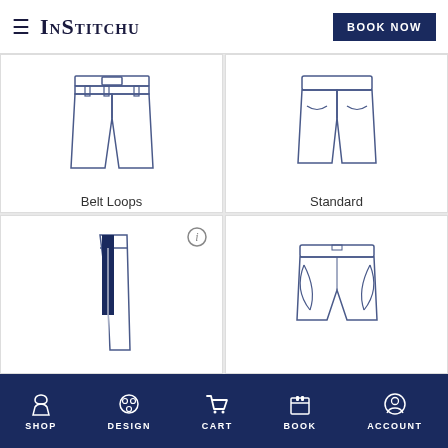InStitchu | BOOK NOW
[Figure (illustration): Illustration of pants with belt loops, front view showing belt and waistband]
Belt Loops
[Figure (illustration): Illustration of trousers with standard waistband, back view]
Standard
[Figure (illustration): Illustration of pants side view with dark navy stripe detail and info icon]
[Figure (illustration): Illustration of shorts/pants back view with pockets]
SHOP | DESIGN | CART | BOOK | ACCOUNT